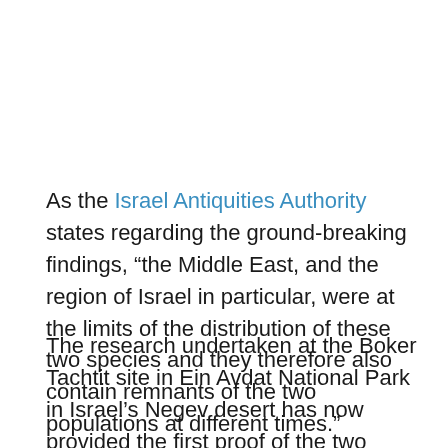As the Israel Antiquities Authority states regarding the ground-breaking findings, “the Middle East, and the region of Israel in particular, were at the limits of the distribution of these two species and they therefore also contain remnants of the two populations at different times.”
The research undertaken at the Boker Tachtit site in Ein Avdat National Park in Israel’s Negev desert has now provided the first proof of the two cultures’ coexistence there and pinpoints—for the first time ever—the exact time when modern humans left